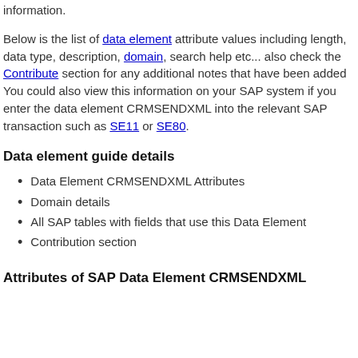information.
Below is the list of data element attribute values including length, data type, description, domain, search help etc... also check the Contribute section for any additional notes that have been added You could also view this information on your SAP system if you enter the data element CRMSENDXML into the relevant SAP transaction such as SE11 or SE80.
Data element guide details
Data Element CRMSENDXML Attributes
Domain details
All SAP tables with fields that use this Data Element
Contribution section
Attributes of SAP Data Element CRMSENDXML